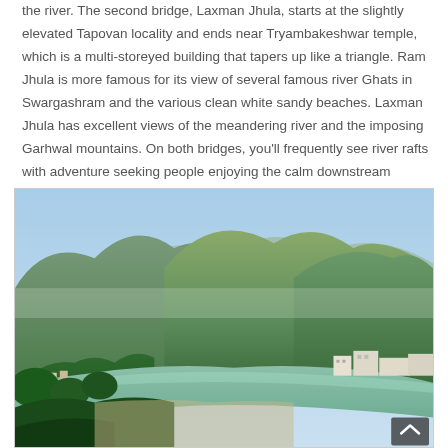the river. The second bridge, Laxman Jhula, starts at the slightly elevated Tapovan locality and ends near Tryambakeshwar temple, which is a multi-storeyed building that tapers up like a triangle. Ram Jhula is more famous for its view of several famous river Ghats in Swargashram and the various clean white sandy beaches. Laxman Jhula has excellent views of the meandering river and the imposing Garhwal mountains. On both bridges, you'll frequently see river rafts with adventure seeking people enjoying the calm downstream length between the two Jhulas.
[Figure (photo): Photograph of the Ganges river at Rishikesh with lush green forested mountains in the background and a valley with buildings along the riverbank on a clear day. A scroll-to-top button is visible in the bottom right corner.]